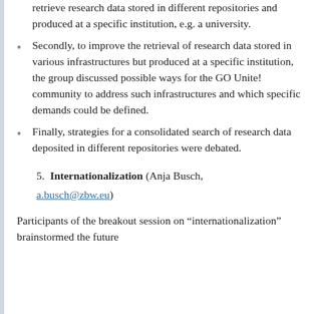retrieve research data stored in different repositories and produced at a specific institution, e.g. a university.
Secondly, to improve the retrieval of research data stored in various infrastructures but produced at a specific institution, the group discussed possible ways for the GO Unite! community to address such infrastructures and which specific demands could be defined.
Finally, strategies for a consolidated search of research data deposited in different repositories were debated.
5. Internationalization (Anja Busch, a.busch@zbw.eu)
Participants of the breakout session on "internationalization" brainstormed the future